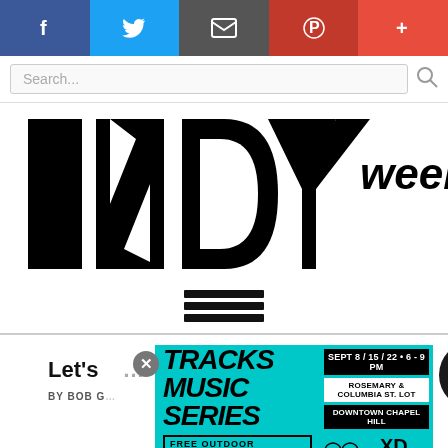[Figure (screenshot): Social media sharing bar with Facebook, Twitter, Email, Pinterest, and plus buttons]
[Figure (screenshot): Search bar with placeholder text 'Search...' and search icon]
[Figure (logo): INDY week logo in large bold black text]
[Figure (infographic): Hamburger/menu icon with three horizontal bars]
Let's ... ope
BY BOB G...
[Figure (infographic): TRACKS MUSIC SERIES advertisement on cyan background. SEPT 8 / 15 / 22 • 6 - 9 PM. ROSEMARY & COLUMBIA ST. LOT. DOWNTOWN CHAPEL HILL. FREE OUTDOOR CONCERTS. Community Arts & Culture. XD CH.]